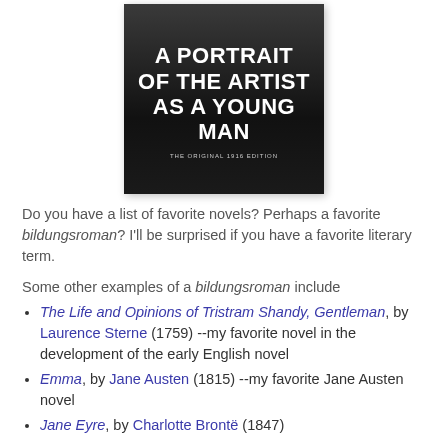[Figure (photo): Book cover of 'A Portrait of the Artist as a Young Man' — white bold text on dark/black blurred background photo, subtitle 'The Original 1916 Edition']
Do you have a list of favorite novels? Perhaps a favorite bildungsroman? I'll be surprised if you have a favorite literary term.
Some other examples of a bildungsroman include
The Life and Opinions of Tristram Shandy, Gentleman, by Laurence Sterne (1759) --my favorite novel in the development of the early English novel
Emma, by Jane Austen (1815) --my favorite Jane Austen novel
Jane Eyre, by Charlotte Brontë (1847)